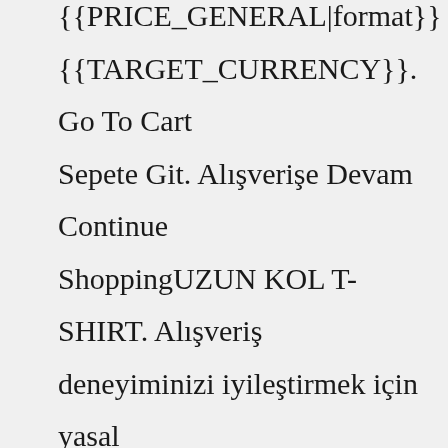{{PRICE_GENERAL|format}} {{TARGET_CURRENCY}}. Go To Cart Sepete Git. Alışverişe Devam Continue ShoppingUZUN KOL T-SHIRT. Alışveriş deneyiminizi iyileştirmek için yasal düzenlemelere uygun çerezler  (cookies) kullanıyoruz.Erkek Giyim, Erkek Takım Elbise, Damatlık, Ceket ve Gömlek modelleriyle 2021 yılının en şık erkek giyim ürünleri Wessi Online mağazada sizleri bekliyor!En yeni koleksiyona